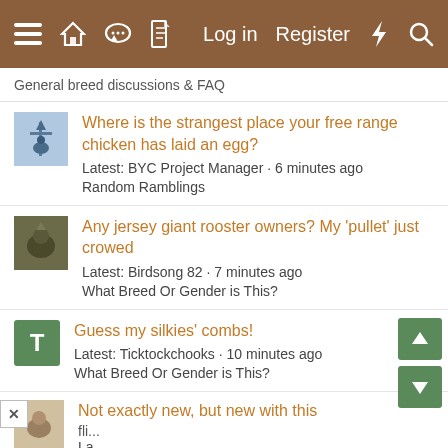[Figure (screenshot): Navigation bar with hamburger menu, home, chat, document icons on left; Log in, Register, lightning bolt, search icons on right; brown background]
General breed discussions & FAQ
Where is the strangest place your free range chicken has laid an egg?
Latest: BYC Project Manager · 6 minutes ago
Random Ramblings
Any jersey giant rooster owners? My 'pullet' just crowed
Latest: Birdsong 82 · 7 minutes ago
What Breed Or Gender is This?
Guess my silkies' combs!
Latest: Ticktockchooks · 10 minutes ago
What Breed Or Gender is This?
Not exactly new, but new with this
[Figure (screenshot): BitLife advertisement banner with red background, sperm icon, BitLife logo in yellow italic, Murder Do it! text on right with blue button]